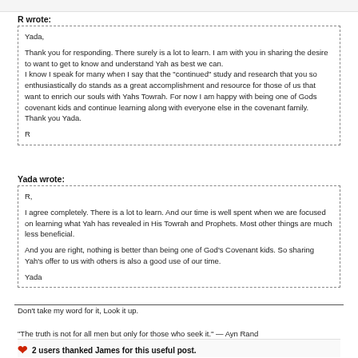...............................................................................................................
R wrote:
Yada,

Thank you for responding. There surely is a lot to learn. I am with you in sharing the desire to want to get to know and understand Yah as best we can.
I know I speak for many when I say that the "continued" study and research that you so enthusiastically do stands as a great accomplishment and resource for those of us that want to enrich our souls with Yahs Towrah. For now I am happy with being one of Gods covenant kids and continue learning along with everyone else in the covenant family.
Thank you Yada.

R
Yada wrote:
R,

I agree completely. There is a lot to learn. And our time is well spent when we are focused on learning what Yah has revealed in His Towrah and Prophets. Most other things are much less beneficial.

And you are right, nothing is better than being one of God's Covenant kids. So sharing Yah's offer to us with others is also a good use of our time.

Yada
Don't take my word for it, Look it up.

“The truth is not for all men but only for those who seek it.” — Ayn Rand
2 users thanked James for this useful post.